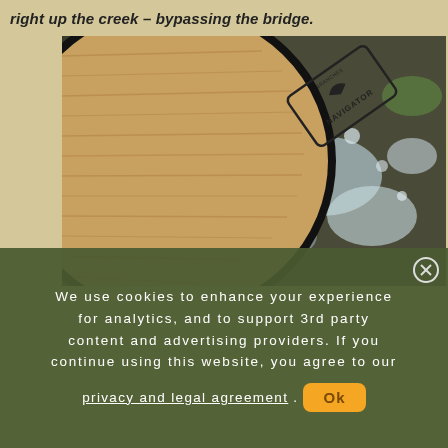right up the creek – bypassing the bridge.
[Figure (photo): Close-up photo of a wooden paddle or canoe bottom with a branded logo reading 'NAVIGATOR' resting in or near flowing creek water with rocks visible.]
We use cookies to enhance your experience for analytics, and to support 3rd party content and advertising providers. If you continue using this website, you agree to our privacy and legal agreement.
Ok